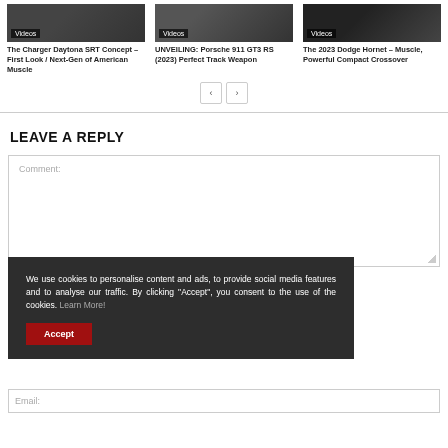[Figure (screenshot): Three video thumbnails in a row: 'The Charger Daytona SRT Concept', 'UNVEILING: Porsche 911 GT3 RS (2023)', 'The 2023 Dodge Hornet']
The Charger Daytona SRT Concept – First Look / Next-Gen of American Muscle
UNVEILING: Porsche 911 GT3 RS (2023) Perfect Track Weapon
The 2023 Dodge Hornet – Muscle, Powerful Compact Crossover
LEAVE A REPLY
Comment:
We use cookies to personalise content and ads, to provide social media features and to analyse our traffic. By clicking "Accept", you consent to the use of the cookies. Learn More!
Accept
Email: